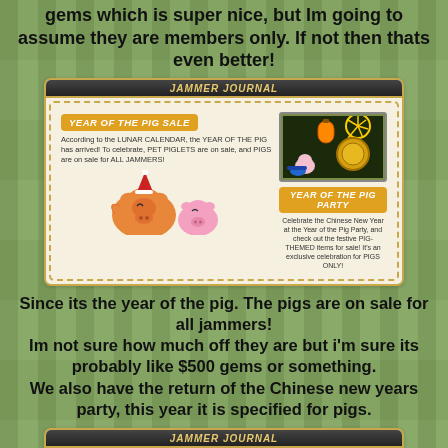gems which is super nice, but Im going to assume they are members only. If not then thats even better!
[Figure (screenshot): Animal Jam Jammer Journal screenshot showing 'Year of the Pig Sale' and 'Year of the Pig Party' sections with pig characters and fireworks imagery]
Since its the year of the pig. The pigs are on sale for all jammers! Im not sure how much off they are but i'm sure its probably like $500 gems or something. We also have the return of the Chinese new years party, this year it is specified for pigs.
[Figure (screenshot): Animal Jam Jammer Journal screenshot showing 'New Year's Fortune' section with colorful dragon artwork on purple background]